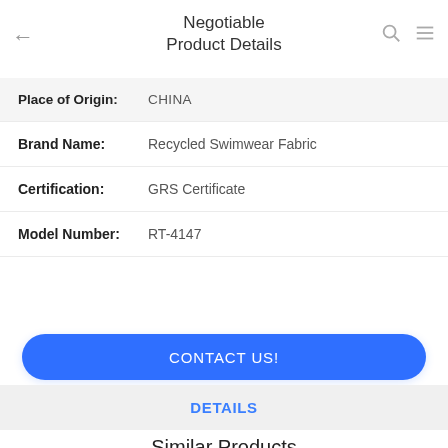Negotiable Product Details
| Field | Value |
| --- | --- |
| Place of Origin: | CHINA |
| Brand Name: | Recycled Swimwear Fabric |
| Certification: | GRS Certificate |
| Model Number: | RT-4147 |
CONTACT US!
DETAILS
Similar Products